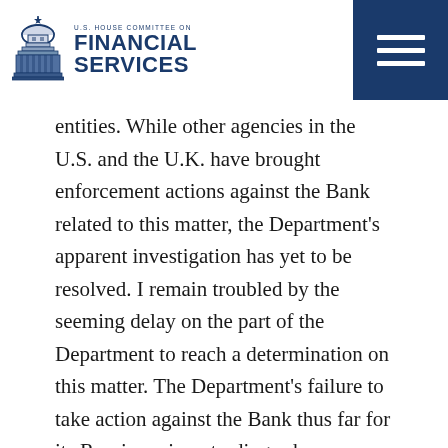U.S. House Committee on Financial Services
entities. While other agencies in the U.S. and the U.K. have brought enforcement actions against the Bank related to this matter, the Department's apparent investigation has yet to be resolved. I remain troubled by the seeming delay on the part of the Department to reach a determination on this matter. The Department's failure to take action against the Bank thus far for its Russian mirror trading scheme stands in sharp contrast to the actions brought against the Bank by